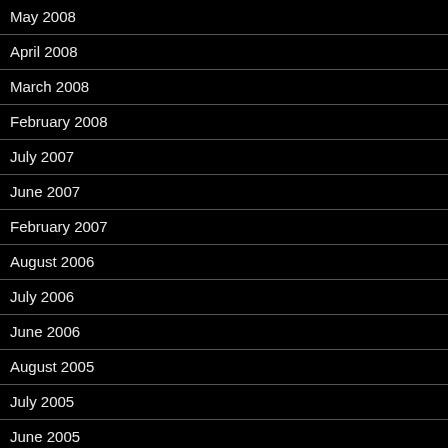May 2008
April 2008
March 2008
February 2008
July 2007
June 2007
February 2007
August 2006
July 2006
June 2006
August 2005
July 2005
June 2005